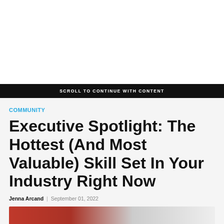[Figure (other): White advertisement/blank area at top of page]
SCROLL TO CONTINUE WITH CONTENT
COMMUNITY
Executive Spotlight: The Hottest (And Most Valuable) Skill Set In Your Industry Right Now
Jenna Arcand | September 01, 2022
[Figure (photo): Partial image of a person in red clothing at bottom of page]